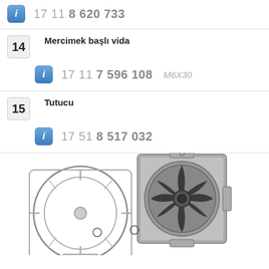17 11 8 620 733
14 Mercimek başlı vida — 17 11 7 596 108 M6X30
15 Tutucu — 17 51 8 517 032
[Figure (engineering-diagram): Exploded view of a radiator fan assembly showing a fan shroud frame and a separate electric fan module with blades, motor center, and mounting brackets. Two circular callout markers indicate attachment points.]